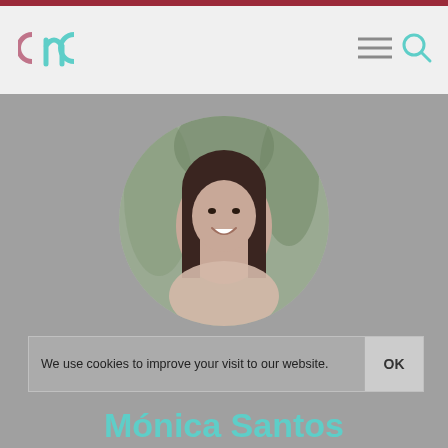CNC logo with hamburger menu and search icon
[Figure (photo): Circular profile photo of Mónica Santos, a woman with long dark hair, smiling, with green foliage background, overlaid on grey background]
We use cookies to improve your visit to our website.
Mónica Santos
[Figure (logo): Partial CNC logo icon at bottom of page]